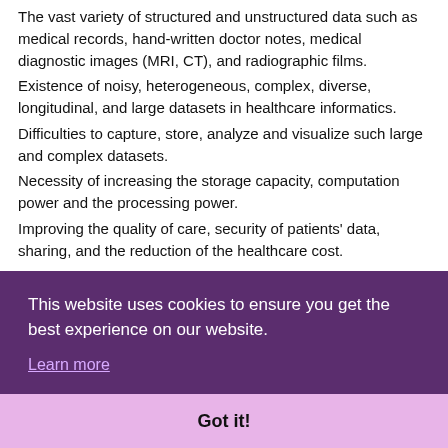The vast variety of structured and unstructured data such as medical records, hand-written doctor notes, medical diagnostic images (MRI, CT), and radiographic films.
Existence of noisy, heterogeneous, complex, diverse, longitudinal, and large datasets in healthcare informatics.
Difficulties to capture, store, analyze and visualize such large and complex datasets.
Necessity of increasing the storage capacity, computation power and the processing power.
Improving the quality of care, security of patients' data, sharing, and the reduction of the healthcare cost.
Hence, solutions are needed in order to manage and analyze such complex, diverse and huge datasets in a reasonable time, com... ter... role... qua... a br... trea... doc...
Finally, the major benefits of big data analytics in healthcare are